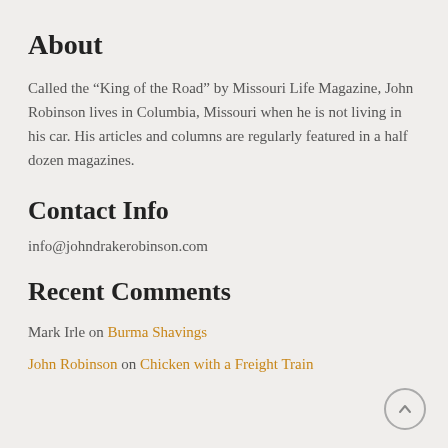About
Called the “King of the Road” by Missouri Life Magazine, John Robinson lives in Columbia, Missouri when he is not living in his car. His articles and columns are regularly featured in a half dozen magazines.
Contact Info
info@johndrakerobinson.com
Recent Comments
Mark Irle on Burma Shavings
John Robinson on Chicken with a Freight Train